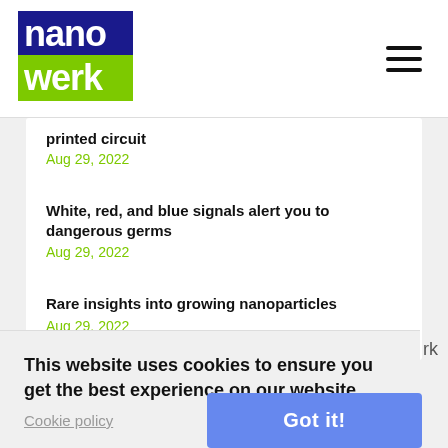nanowerk
printed circuit
Aug 29, 2022
White, red, and blue signals alert you to dangerous germs
Aug 29, 2022
Rare insights into growing nanoparticles
Aug 29, 2022
This website uses cookies to ensure you get the best experience on our website.
Cookie policy
Got it!
Aug 29, 2022